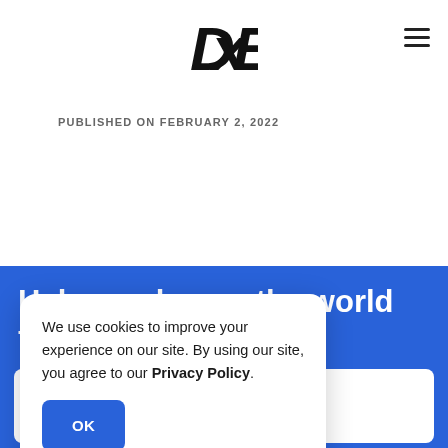DxE logo and navigation
PUBLISHED ON FEBRUARY 2, 2022
Help us change the world for animals.
Donate
We use cookies to improve your experience on our site. By using our site, you agree to our Privacy Policy.
Be part of DxE's growing community of animal rights